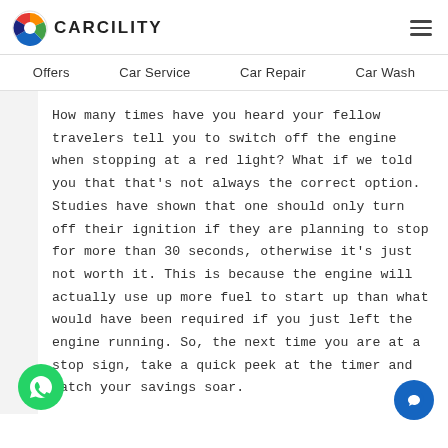CARCILITY
Offers   Car Service   Car Repair   Car Wash
How many times have you heard your fellow travelers tell you to switch off the engine when stopping at a red light? What if we told you that that's not always the correct option. Studies have shown that one should only turn off their ignition if they are planning to stop for more than 30 seconds, otherwise it's just not worth it. This is because the engine will actually use up more fuel to start up than what would have been required if you just left the engine running. So, the next time you are at a stop sign, take a quick peek at the timer and watch your savings soar.